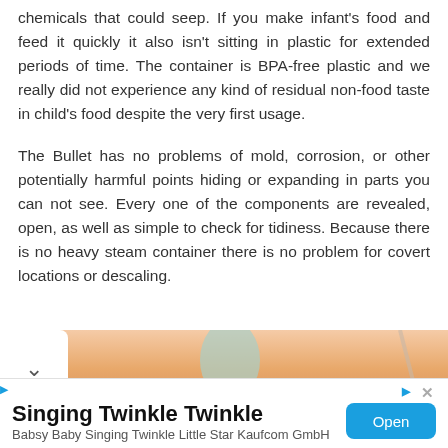chemicals that could seep. If you make infant's food and feed it quickly it also isn't sitting in plastic for extended periods of time. The container is BPA-free plastic and we really did not experience any kind of residual non-food taste in child's food despite the very first usage.
The Bullet has no problems of mold, corrosion, or other potentially harmful points hiding or expanding in parts you can not see. Every one of the components are revealed, open, as well as simple to check for tidiness. Because there is no heavy steam container there is no problem for covert locations or descaling.
[Figure (photo): Partial photo showing a peach/skin-toned background with a teal accent element, partially obscured by a white chevron/dropdown panel on the left.]
Singing Twinkle Twinkle
Babsy Baby Singing Twinkle Little Star Kaufcom GmbH
Open